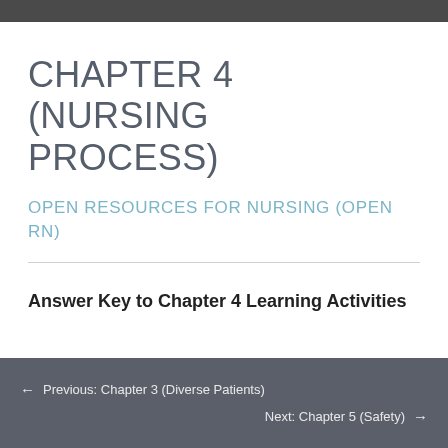CHAPTER 4 (NURSING PROCESS)
OPEN RESOURCES FOR NURSING (OPEN RN)
Answer Key to Chapter 4 Learning Activities
← Previous: Chapter 3 (Diverse Patients)  Next: Chapter 5 (Safety) →